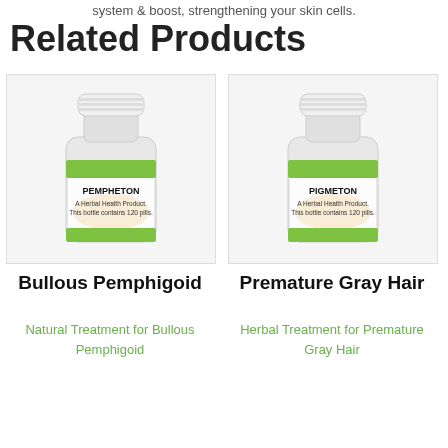system a boost, strengthening your skin cells.
Related Products
[Figure (photo): Bottle of PEMPHETON herbal health product, 120 pills]
Bullous Pemphigoid
Natural Treatment for Bullous Pemphigoid
[Figure (photo): Bottle of PIGMETON herbal health product, 120 pills]
Premature Gray Hair
Herbal Treatment for Premature Gray Hair